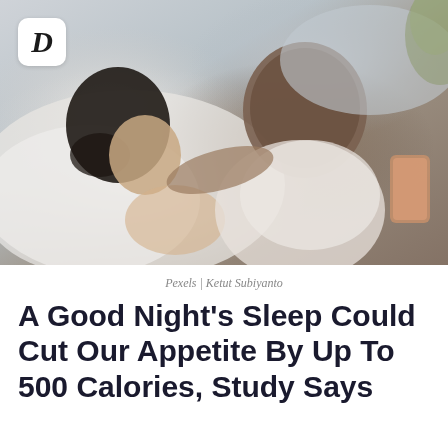[Figure (photo): Two people lying in bed sleeping together, viewed from above. A woman with dark hair is on the left covered by white sheets, and a man in a white t-shirt is on the right. A phone is visible on the right side. White and grey bedding. Logo badge with italic D in top left corner.]
Pexels | Ketut Subiyanto
A Good Night's Sleep Could Cut Our Appetite By Up To 500 Calories, Study Says